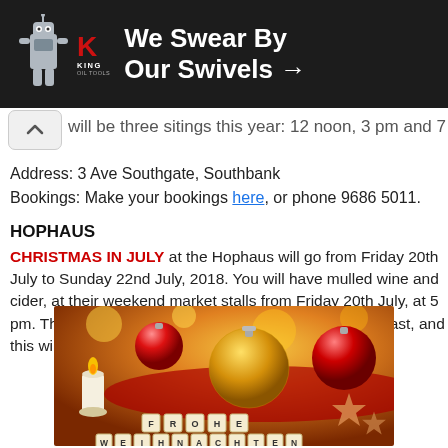[Figure (photo): King Oil Tools advertisement banner: dark background with robot figure, red K logo, text 'We Swear By Our Swivels →']
…will be three sitings this year: 12 noon, 3 pm and 7 pm.
Address: 3 Ave Southgate, Southbank
Bookings: Make your bookings here, or phone 9686 5011.
HOPHAUS
CHRISTMAS IN JULY at the Hophaus will go from Friday 20th July to Sunday 22nd July, 2018. You will have mulled wine and cider, at their weekend market stalls from Friday 20th July, at 5 pm. They will also be holding a traditional Christmas Feast, and this will be held on Sunday 22nd July, from 1 pm.
[Figure (photo): Christmas photo showing decorative baubles (red and gold), a candle, gingerbread stars, and wooden letter tiles spelling 'FROHE WEIHNACHTEN']